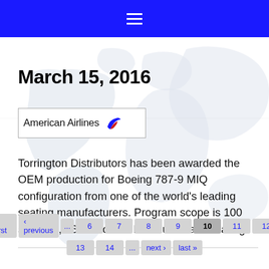☰
[Figure (map): Faint world map silhouette used as background image behind page content]
March 15, 2016
[Figure (logo): American Airlines logo with name and bird symbol in blue and red]
Torrington Distributors has been awarded the OEM production for Boeing 787-9 MIQ configuration from one of the world's leading seating manufacturers. Program scope is 100 shipsets, 16 Pax of the Premium class seating.
« first  ‹ previous  ...  6  7  8  9  10  11  12  13  14  ...  next ›  last »